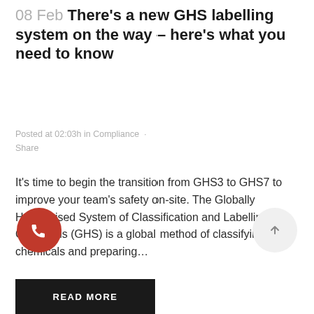08 Feb There's a new GHS labelling system on the way – here's what you need to know
Posted at 02:03h in Compliance · Share
It's time to begin the transition from GHS3 to GHS7 to improve your team's safety on-site. The Globally Harmonised System of Classification and Labelling of Chemicals (GHS) is a global method of classifying chemicals and preparing…